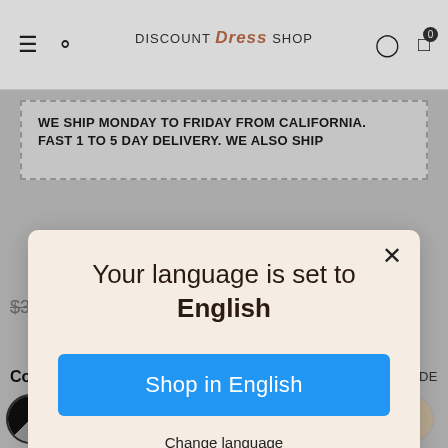[Figure (screenshot): Website header navigation bar with hamburger menu, search icon, Discount Dress Shop logo, user icon, and cart icon showing 0 items]
WE SHIP MONDAY TO FRIDAY FROM CALIFORNIA. FAST 1 TO 5 DAY DELIVERY. WE ALSO SHIP
Your language is set to English
Shop in English
Change language
$300.00  $237.55
Color : Black
SIZE GUIDE
[Figure (illustration): Row of 8 circular dress color swatches: black, pink, nude/beige, teal, light tan, navy, lavender, champagne]